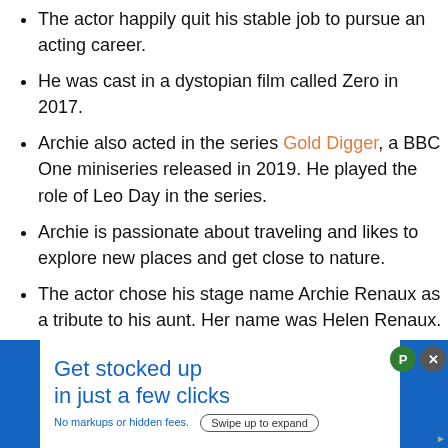The actor happily quit his stable job to pursue an acting career.
He was cast in a dystopian film called Zero in 2017.
Archie also acted in the series Gold Digger, a BBC One miniseries released in 2019. He played the role of Leo Day in the series.
Archie is passionate about traveling and likes to explore new places and get close to nature.
The actor chose his stage name Archie Renaux as a tribute to his aunt. Her name was Helen Renaux.
It is rumored that he is acting in the rom-com “The Other Zoey.” He would be starring alongside Drew Starl...s.
[Figure (infographic): Advertisement banner: 'Get stocked up in just a few clicks. No markups or hidden fees.' with a 'Swipe up to expand' button, blue background with white content box, close buttons (green P icon and grey X).]